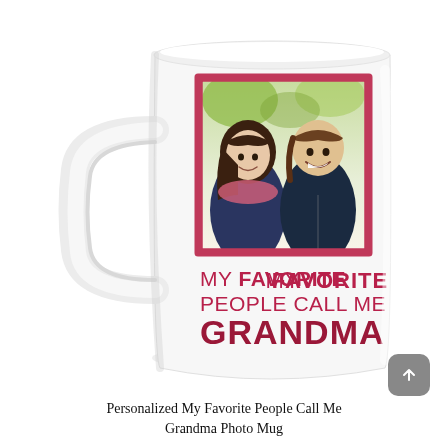[Figure (photo): A white ceramic coffee mug featuring a pink-bordered photo of a smiling girl and boy on the front, with the text 'MY FAVORITE PEOPLE CALL ME GRANDMA' printed in dark pink/crimson letters below the photo.]
Personalized My Favorite People Call Me Grandma Photo Mug